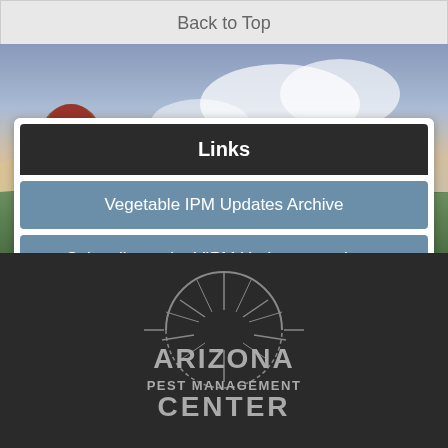Back to Top
Links
Vegetable IPM Updates Archive
Subscribe to the VIPM Update news letter
[Figure (logo): Arizona Pest Management Center logo — circular sunburst design with text: ARIZONA PEST MANAGEMENT CENTER]
[Figure (photo): Landscape banner image with green field, tree on left, clouds and sunset sky]